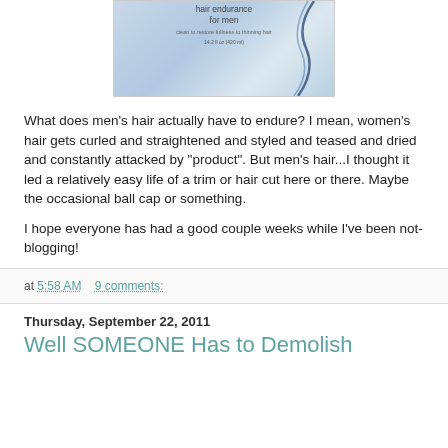[Figure (photo): Photo of hair endurance for men shampoo/conditioner bottles with blue and white design, showing text 'hair endurance for men', 'clean to restore fullness to thinning hair', '14.2 fl oz (420 ml)']
What does men's hair actually have to endure? I mean, women's hair gets curled and straightened and styled and teased and dried and constantly attacked by "product". But men's hair...I thought it led a relatively easy life of a trim or hair cut here or there. Maybe the occasional ball cap or something.
I hope everyone has had a good couple weeks while I've been not-blogging!
at 5:58 AM     9 comments:
Thursday, September 22, 2011
Well SOMEONE Has to Demolish